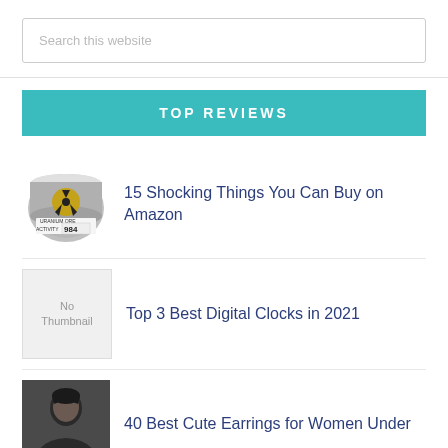Search this website
TOP REVIEWS
15 Shocking Things You Can Buy on Amazon
Top 3 Best Digital Clocks in 2021
40 Best Cute Earrings for Women Under